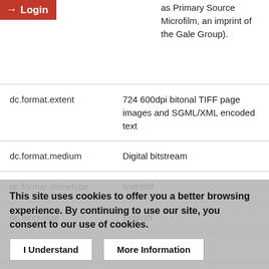[Figure (other): Login button with arrow icon on red background]
as Primary Source Microfilm, an imprint of the Gale Group).
| dc.format.extent | 724 600dpi bitonal TIFF page images and SGML/XML encoded text |
| dc.format.medium | Digital bitstream |
| dc.format.mimetype | text/xml |
| dc.language | English |
| dc.language.iso | eng |
| dc.publisher | University of Oxford |
This site uses cookies to offer you a better browsing experience. By continuing to use our site, you consent to our use of cookies.
I Understand   More Information